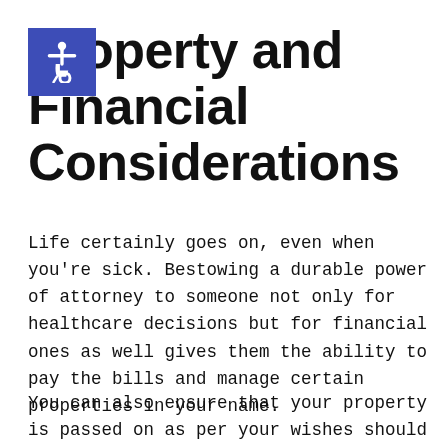Property and Financial Considerations
Life certainly goes on, even when you're sick. Bestowing a durable power of attorney to someone not only for healthcare decisions but for financial ones as well gives them the ability to pay the bills and manage certain properties in your name.
You can also ensure that your property is passed on as per your wishes should